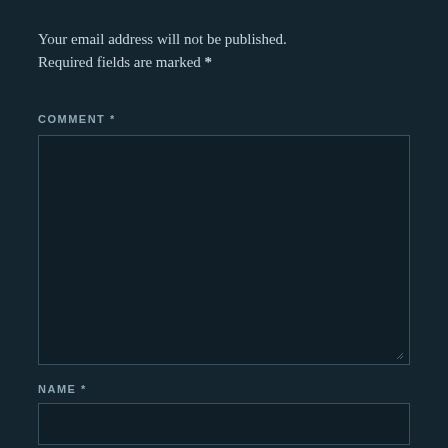Your email address will not be published. Required fields are marked *
COMMENT *
[Figure (other): Empty textarea input box for comment entry with resize handle at bottom right]
NAME *
[Figure (other): Empty single-line text input box for name entry]